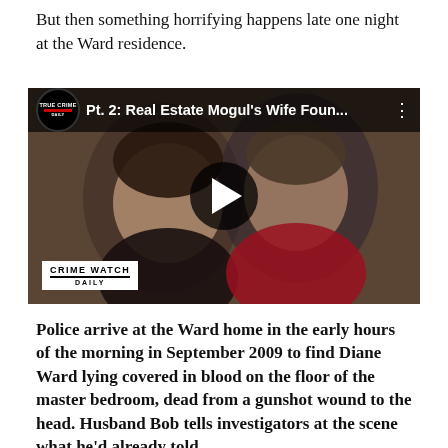But then something horrifying happens late one night at the Ward residence.
[Figure (screenshot): YouTube video thumbnail showing a smiling couple (a woman and a man) with a True Crime Daily logo badge and the title 'Pt. 2: Real Estate Mogul's Wife Foun...' in the top bar. A large play button is centered on the image. A Crime Watch Daily badge appears in the lower left corner.]
Police arrive at the Ward home in the early hours of the morning in September 2009 to find Diane Ward lying covered in blood on the floor of the master bedroom, dead from a gunshot wound to the head. Husband Bob tells investigators at the scene what he'd already told